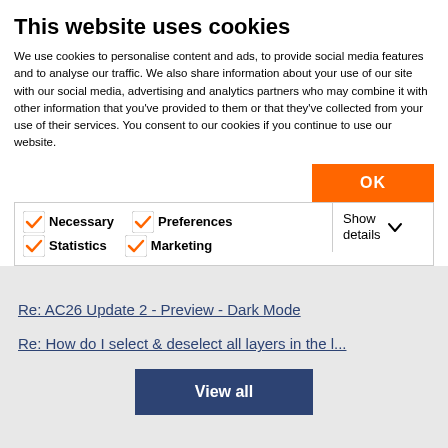This website uses cookies
We use cookies to personalise content and ads, to provide social media features and to analyse our traffic. We also share information about your use of our site with our social media, advertising and analytics partners who may combine it with other information that you've provided to them or that they've collected from your use of their services. You consent to our cookies if you continue to use our website.
OK
Necessary  Preferences  Statistics  Marketing  Show details
Re: AC26 Update 2 - Preview - Dark Mode
Re: How do I select & deselect all layers in the l...
View all